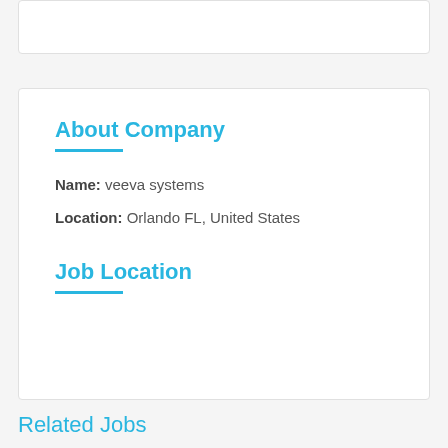About Company
Name: veeva systems
Location: Orlando FL, United States
Job Location
Related Jobs